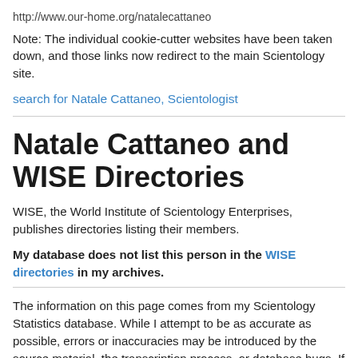http://www.our-home.org/natalecattaneo
Note: The individual cookie-cutter websites have been taken down, and those links now redirect to the main Scientology site.
search for Natale Cattaneo, Scientologist
Natale Cattaneo and WISE Directories
WISE, the World Institute of Scientology Enterprises, publishes directories listing their members.
My database does not list this person in the WISE directories in my archives.
The information on this page comes from my Scientology Statistics database. While I attempt to be as accurate as possible, errors or inaccuracies may be introduced by the source material, the transcription process, or database bugs. If you discover an error or problem, please let me know by writing to